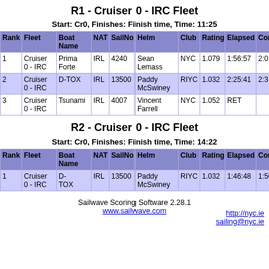R1 - Cruiser 0 - IRC Fleet
Start: Cr0, Finishes: Finish time, Time: 11:25
| Rank | Fleet | Boat Name | NAT | SailNo | Helm | Club | Rating | Elapsed | Cor |
| --- | --- | --- | --- | --- | --- | --- | --- | --- | --- |
| 1 | Cruiser 0 - IRC | Prima Forte | IRL | 4240 | Sean Lemass | NYC | 1.079 | 1:56:57 | 2:0 |
| 2 | Cruiser 0 - IRC | D-TOX | IRL | 13500 | Paddy McSwiney | RIYC | 1.032 | 2:25:41 | 2:3 |
| 3 | Cruiser 0 - IRC | Tsunami | IRL | 4007 | Vincent Farrell | NYC | 1.052 | RET |  |
R2 - Cruiser 0 - IRC Fleet
Start: Cr0, Finishes: Finish time, Time: 14:22
| Rank | Fleet | Boat Name | NAT | SailNo | Helm | Club | Rating | Elapsed | Corre |
| --- | --- | --- | --- | --- | --- | --- | --- | --- | --- |
| 1 | Cruiser 0 - IRC | D-TOX | IRL | 13500 | Paddy McSwiney | RIYC | 1.032 | 1:46:48 | 1:50: |
Sailwave Scoring Software 2.28.1
www.sailwave.com
http://nyc.ie
sailing@nyc.ie